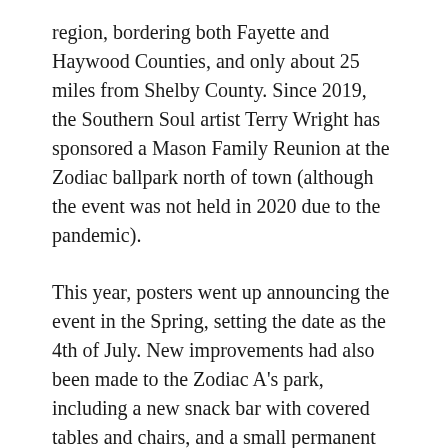region, bordering both Fayette and Haywood Counties, and only about 25 miles from Shelby County. Since 2019, the Southern Soul artist Terry Wright has sponsored a Mason Family Reunion at the Zodiac ballpark north of town (although the event was not held in 2020 due to the pandemic).
This year, posters went up announcing the event in the Spring, setting the date as the 4th of July. New improvements had also been made to the Zodiac A's park, including a new snack bar with covered tables and chairs, and a small permanent stage with a DJ booth. At a time when so many Black ballfields have been abandoned or have disappeared, it is encouraging to see this investment in keeping Zodiac Park up to date and viable. Tickets to the event were $30, yet there was already a significant crowd present when I arrived.